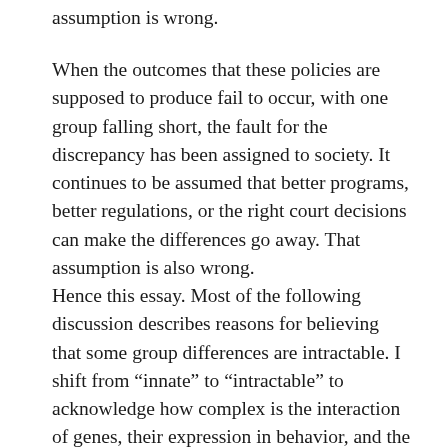assumption is wrong.
When the outcomes that these policies are supposed to produce fail to occur, with one group falling short, the fault for the discrepancy has been assigned to society. It continues to be assumed that better programs, better regulations, or the right court decisions can make the differences go away. That assumption is also wrong.
Hence this essay. Most of the following discussion describes reasons for believing that some group differences are intractable. I shift from “innate” to “intractable” to acknowledge how complex is the interaction of genes, their expression in behavior, and the environment.